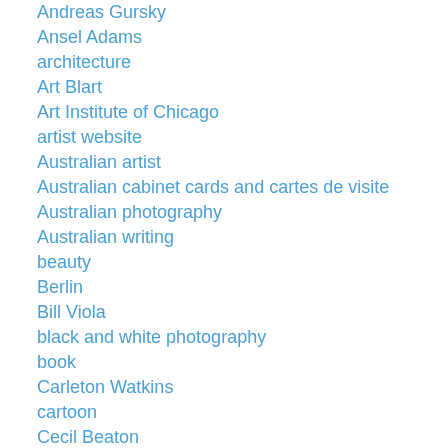Andreas Gursky
Ansel Adams
architecture
Art Blart
Art Institute of Chicago
artist website
Australian artist
Australian cabinet cards and cartes de visite
Australian photography
Australian writing
beauty
Berlin
Bill Viola
black and white photography
book
Carleton Watkins
cartoon
Cecil Beaton
Cindy Sherman
colour photography